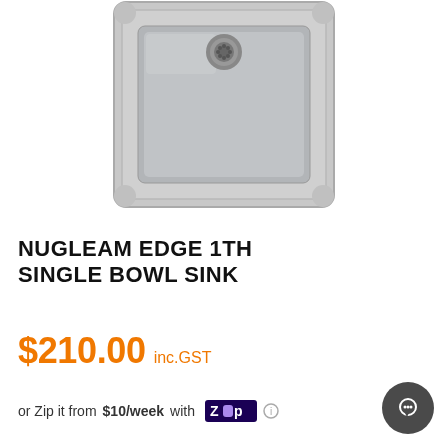[Figure (photo): Top-down view of a stainless steel single bowl kitchen sink (NUGLEAM EDGE 1TH), showing the rectangular basin with rounded corners, drain opening at the top center, and brushed stainless steel surface.]
NUGLEAM EDGE 1TH SINGLE BOWL SINK
$210.00 inc.GST
or Zip it from $10/week with Zip